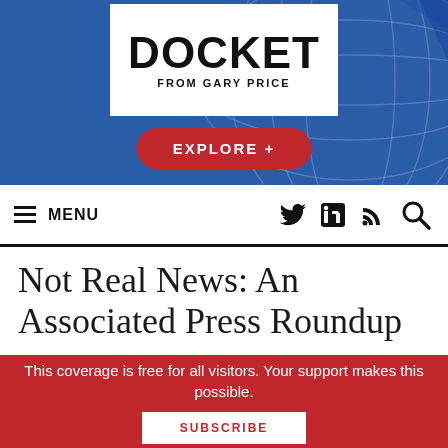[Figure (logo): DOCKET FROM GARY PRICE logo in white box over blue background with globe lines, with red EXPLORE + button below]
≡ MENU
Not Real News: An Associated Press Roundup
This coverage is free for all visitors. Your support makes this possible.
SUBSCRIBE